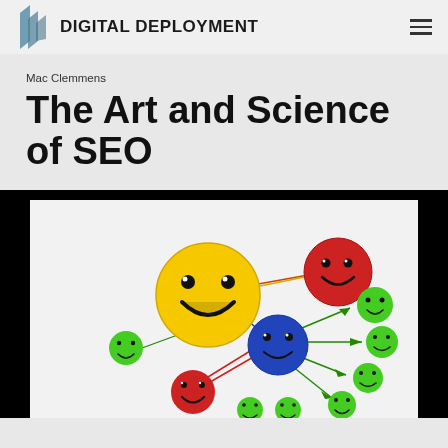DIGITAL DEPLOYMENT
Mac Clemmens
The Art and Science of SEO
[Figure (illustration): Colorful 3D smiley face balls connected by arrows on a white background, depicting a network/link graph. A large yellow smiley in the center-left connected by arrows to red, blue, green smiley balls of various sizes arranged around it, suggesting link building or social network concept.]